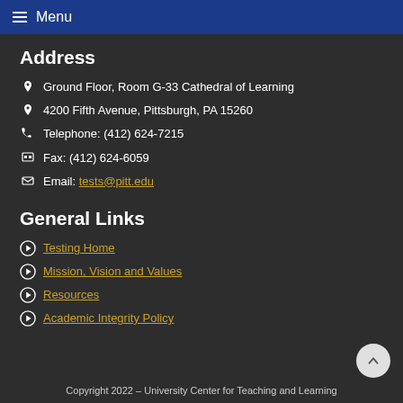≡ Menu
Address
Ground Floor, Room G-33 Cathedral of Learning
4200 Fifth Avenue, Pittsburgh, PA 15260
Telephone: (412) 624-7215
Fax: (412) 624-6059
Email: tests@pitt.edu
General Links
Testing Home
Mission, Vision and Values
Resources
Academic Integrity Policy
Copyright 2022 – University Center for Teaching and Learning